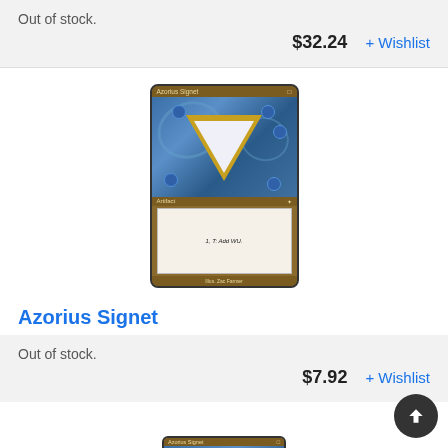Out of stock.
$32.24   + Wishlist
[Figure (illustration): Azorius Signet Magic: The Gathering card showing blue swirling art with a gold triangle symbol]
Azorius Signet
Out of stock.
$7.92   + Wishlist
[Figure (illustration): Partial view of another Azorius Signet card at bottom of page]